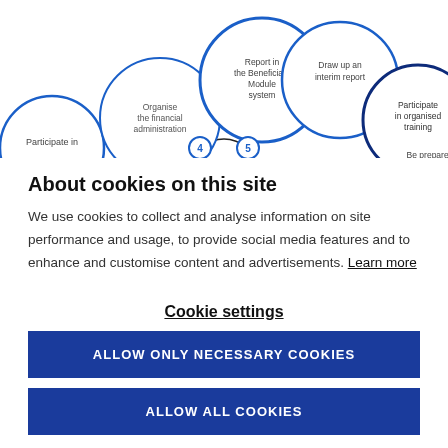[Figure (infographic): A partial view of a circular workflow diagram showing connected circles with labels: 'Participate in' (partially visible, left edge), 'Organise the financial administration', 'Report in the Beneficiary Module system', 'Draw up an interim report', 'Participate in organised training', 'Be prepared' (partially visible, right edge). Circles 4 and 5 are connected by a curved line at the bottom, numbered with blue circles.]
About cookies on this site
We use cookies to collect and analyse information on site performance and usage, to provide social media features and to enhance and customise content and advertisements. Learn more
Cookie settings
ALLOW ONLY NECESSARY COOKIES
ALLOW ALL COOKIES